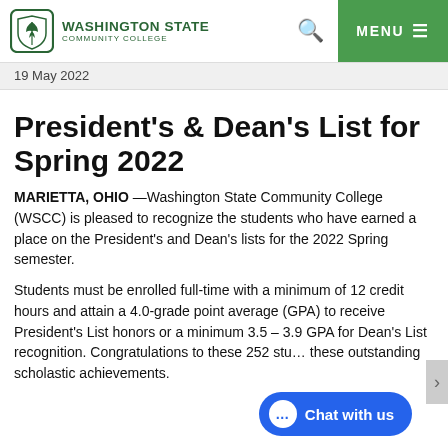[Figure (logo): Washington State Community College logo with shield icon and college name in green]
19 May 2022
President's & Dean's List for Spring 2022
MARIETTA, OHIO —Washington State Community College (WSCC) is pleased to recognize the students who have earned a place on the President's and Dean's lists for the 2022 Spring semester.
Students must be enrolled full-time with a minimum of 12 credit hours and attain a 4.0-grade point average (GPA) to receive President's List honors or a minimum 3.5 – 3.9 GPA for Dean's List recognition. Congratulations to these 252 stu... these outstanding scholastic achievements.